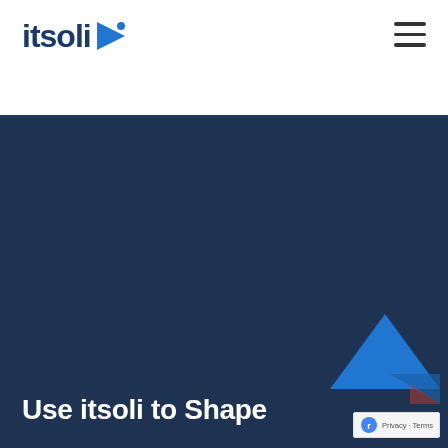itsoli
[Figure (logo): itsoli logo with blue play-button arrow triangle next to text]
Use itsoli to Shape